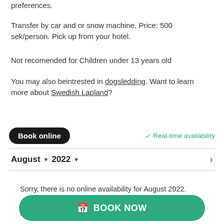preferences.
Transfer by car and or snow machine, Price: 500 sek/person. Pick up from your hotel.
Not recomended for Children under 13 years old
You may also beintrested in dogsledding. Want to learn more about Swedish Lapland?
Book online
✓ Real-time availability
August ▾ 2022 ▾ >
Sorry, there is no online availability for August 2022.
Ple
BOOK NOW